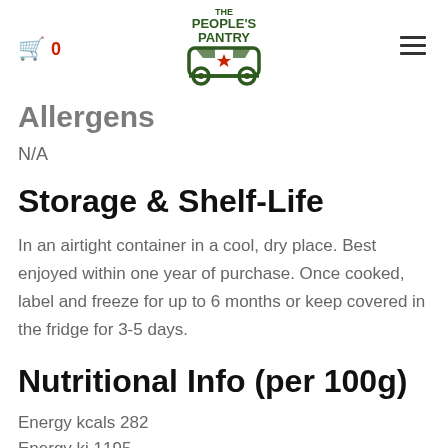The People's Pantry
Allergens
N/A
Storage & Shelf-Life
In an airtight container in a cool, dry place. Best enjoyed within one year of purchase. Once cooked, label and freeze for up to 6 months or keep covered in the fridge for 3-5 days.
Nutritional Info (per 100g)
Energy kcals 282
Energy kj 1195